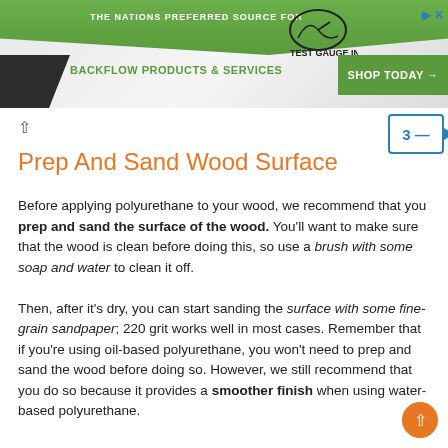[Figure (screenshot): Website banner advertisement for Test Gauge Inc. featuring a green stripe header reading 'THE NATIONS PREFERRED SOURCE FOR BACKFLOW PRODUCTS & SERVICES' with a logo and green 'SHOP TODAY' button on the right.]
Prep And Sand Wood Surface
Before applying polyurethane to your wood, we recommend that you prep and sand the surface of the wood. You'll want to make sure that the wood is clean before doing this, so use a brush with some soap and water to clean it off.

Then, after it's dry, you can start sanding the surface with some fine-grain sandpaper; 220 grit works well in most cases. Remember that if you're using oil-based polyurethane, you won't need to prep and sand the wood before doing so. However, we still recommend that you do so because it provides a smoother finish when using water-based polyurethane.